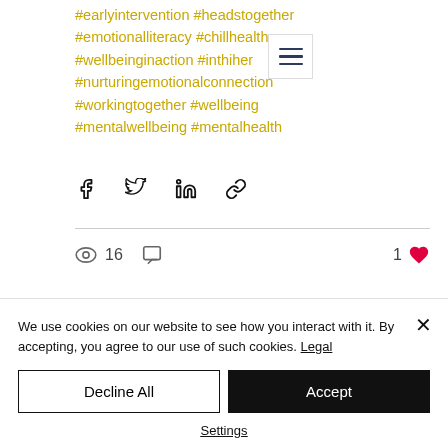#earlyintervention #headstogether #emotionalliteracy #childmentalhealth #wellbeinginaction #inthisgether #nurturingemotionalconnection #workingtogether #wellbeing #mentalwellbeing #mentalhealth
[Figure (screenshot): Share icons row: Facebook, Twitter, LinkedIn, Link]
[Figure (screenshot): Stats bar: 16 views, comment icon, 1 like (heart)]
We use cookies on our website to see how you interact with it. By accepting, you agree to our use of such cookies. Legal
Decline All
Accept
Settings